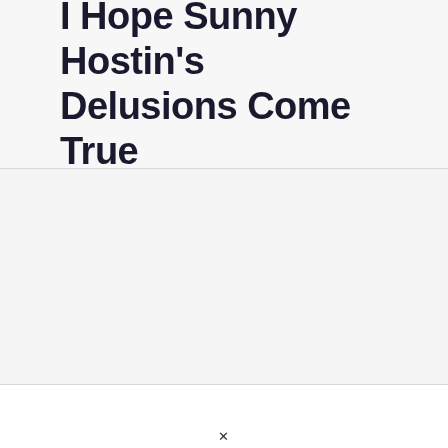I Hope Sunny Hostin's Delusions Come True